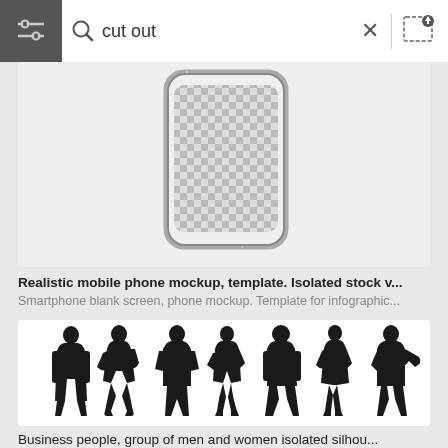[Figure (screenshot): Search bar UI with hamburger menu icon, magnifying glass icon, 'cut out' search text, X close button, and upload image icon]
[Figure (photo): Realistic mobile phone mockup with transparent/checkerboard screen area and metallic frame, isolated on light background]
Realistic mobile phone mockup, template. Isolated stock v...
Smartphone blank screen, phone mockup. Template for infographic...
[Figure (illustration): Business people group of men and women black silhouettes isolated on white background, seven figures in various poses]
Business people, group of men and women isolated silhou...